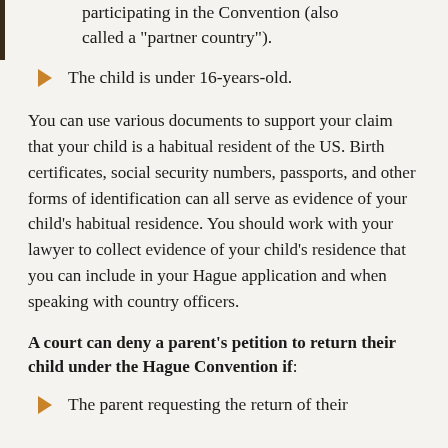participating in the Convention (also called a "partner country").
The child is under 16-years-old.
You can use various documents to support your claim that your child is a habitual resident of the US. Birth certificates, social security numbers, passports, and other forms of identification can all serve as evidence of your child's habitual residence. You should work with your lawyer to collect evidence of your child's residence that you can include in your Hague application and when speaking with country officers.
A court can deny a parent's petition to return their child under the Hague Convention if:
The parent requesting the return of their